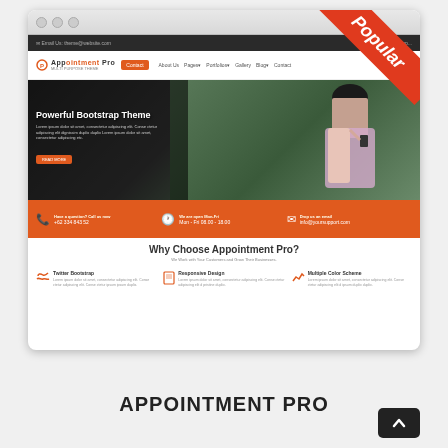[Figure (screenshot): Screenshot of Appointment Pro website theme showing browser window with hero image of woman on phone, orange info bar, and features section]
APPOINTMENT PRO